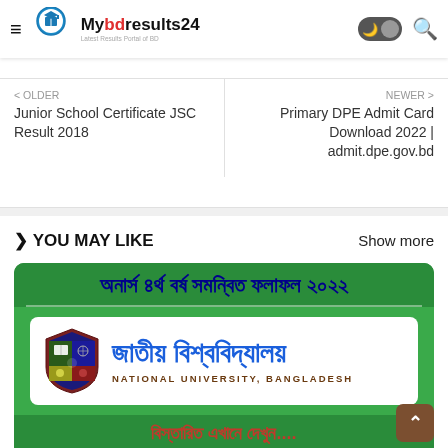Mybdresults24 — Latest Results Portal of BD
< OLDER
Junior School Certificate JSC Result 2018
NEWER >
Primary DPE Admit Card Download 2022 | admit.dpe.gov.bd
> YOU MAY LIKE   Show more
[Figure (illustration): Green card with Bangla text for Honours 4th Year Combined Result 2022, National University Bangladesh logo and branding, with detail link text in red]